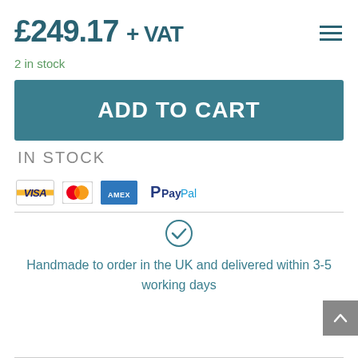£249.17 + VAT
2 in stock
ADD TO CART
IN STOCK
[Figure (other): Payment method icons: Visa, Mastercard, American Express, PayPal]
[Figure (other): Checkmark circle icon]
Handmade to order in the UK and delivered within 3-5 working days